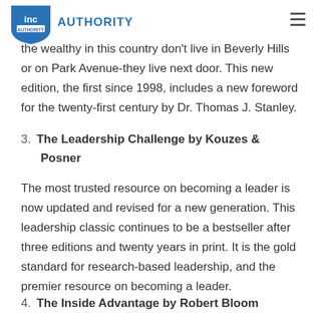INC AUTHORITY
among those who have accumulated wealth. Most of the wealthy in this country don't live in Beverly Hills or on Park Avenue-they live next door. This new edition, the first since 1998, includes a new foreword for the twenty-first century by Dr. Thomas J. Stanley.
3. The Leadership Challenge by Kouzes & Posner
The most trusted resource on becoming a leader is now updated and revised for a new generation. This leadership classic continues to be a bestseller after three editions and twenty years in print. It is the gold standard for research-based leadership, and the premier resource on becoming a leader.
4. The Inside Advantage by Robert Bloom